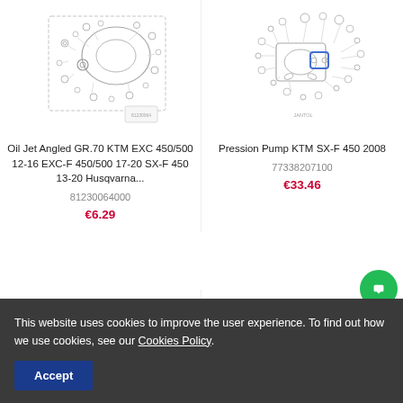[Figure (illustration): Technical exploded diagram of Oil Jet Angled GR.70 KTM engine part]
Oil Jet Angled GR.70 KTM EXC 450/500 12-16 EXC-F 450/500 17-20 SX-F 450 13-20 Husqvarna...
81230064000
€6.29
[Figure (illustration): Technical exploded diagram of Pression Pump KTM SX-F 450 2008 with highlighted component]
Pression Pump KTM SX-F 450 2008
77338207100
€33.46
[Figure (illustration): Technical exploded diagram of engine assembly bottom-left product]
F 450 07-11
[Figure (illustration): Technical exploded diagram of engine part bottom-right product with highlighted component]
07-12 505 07-08 SMR 450
This website uses cookies to improve the user experience. To find out how we use cookies, see our Cookies Policy.
Accept